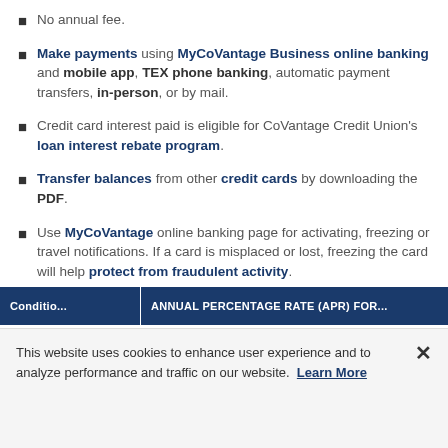No annual fee.
Make payments using MyCoVantage Business online banking and mobile app, TEX phone banking, automatic payment transfers, in-person, or by mail.
Credit card interest paid is eligible for CoVantage Credit Union's loan interest rebate program.
Transfer balances from other credit cards by downloading the PDF.
Use MyCoVantage online banking page for activating, freezing or travel notifications. If a card is misplaced or lost, freezing the card will help protect from fraudulent activity.
| Condition | ANNUAL PERCENTAGE RATE (APR) FOR... |
| --- | --- |
This website uses cookies to enhance user experience and to analyze performance and traffic on our website. Learn More